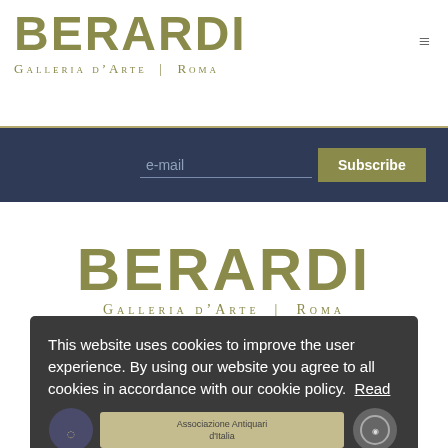BERARDI
Galleria d'Arte | Roma
[Figure (screenshot): Email subscription bar with e-mail input field and Subscribe button on dark navy background]
BERARDI
Galleria d'Arte | Roma
This website uses cookies to improve the user experience. By using our website you agree to all cookies in accordance with our cookie policy. Read
[Figure (logo): Associazione Antiquari d'Italia logo and other certification badge]
I agree